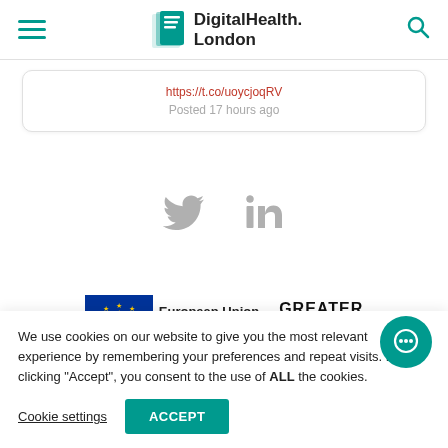DigitalHealth.London navigation header
https://t.co/uoycjoqRV
Posted 17 hours ago
[Figure (other): Twitter and LinkedIn social media icons in grey]
[Figure (logo): European Union European Regional logo and Greater London logo]
We use cookies on our website to give you the most relevant experience by remembering your preferences and repeat visits. By clicking "Accept", you consent to the use of ALL the cookies.
Cookie settings  ACCEPT